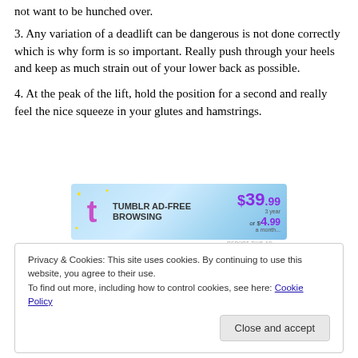not want to be hunched over.
3. Any variation of a deadlift can be dangerous is not done correctly which is why form is so important. Really push through your heels and keep as much strain out of your lower back as possible.
4. At the peak of the lift, hold the position for a second and really feel the nice squeeze in your glutes and hamstrings.
[Figure (advertisement): Tumblr Ad-Free Browsing advertisement banner showing price $39.99/year or $4.99/month]
Privacy & Cookies: This site uses cookies. By continuing to use this website, you agree to their use. To find out more, including how to control cookies, see here: Cookie Policy